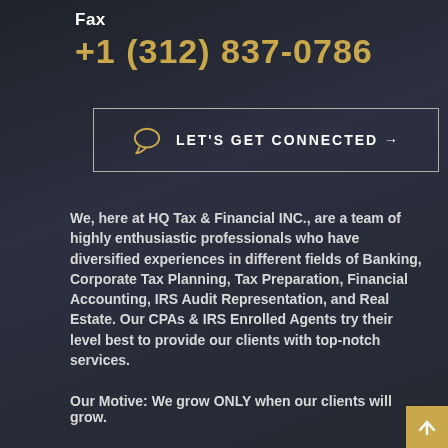Fax
+1 (312) 837-0786
LET'S GET CONNECTED →
We, here at HQ Tax & Financial INC., are a team of highly enthusiastic professionals who have diversified experiences in different fields of Banking, Corporate Tax Planning, Tax Preparation, Financial Accounting, IRS Audit Representation, and Real Estate. Our CPAs & IRS Enrolled Agents try their level best to provide our clients with top-notch services.
Our Motive: We grow ONLY when our clients will grow.